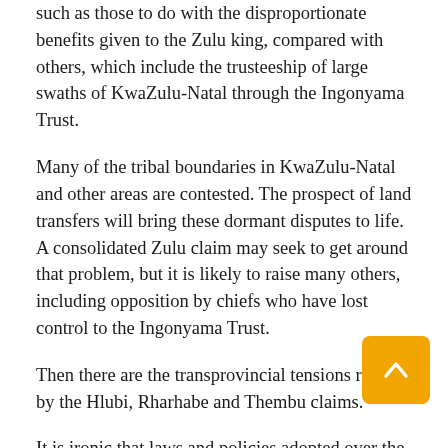such as those to do with the disproportionate benefits given to the Zulu king, compared with others, which include the trusteeship of large swaths of KwaZulu-Natal through the Ingonyama Trust.
Many of the tribal boundaries in KwaZulu-Natal and other areas are contested. The prospect of land transfers will bring these dormant disputes to life. A consolidated Zulu claim may seek to get around that problem, but it is likely to raise many others, including opposition by chiefs who have lost control to the Ingonyama Trust.
Then there are the transprovincial tensions raised by the Hlubi, Rharhabe and Thembu claims.
It is ironic that laws and policies adopted over the past 10 years re-entrench two flawed colonial constructs that pivotal to our history of racial dispossession.
The first is that...